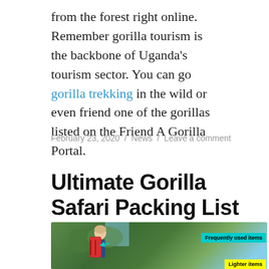from the forest right online. Remember gorilla tourism is the backbone of Uganda's tourism sector. You can go gorilla trekking in the wild or even friend one of the gorillas listed on the Friend A Gorilla Portal.
February 23, 2020 / News / Leave a comment
Ultimate Gorilla Safari Packing List
[Figure (photo): A blonde woman with sunglasses wearing a large red hiking backpack, with green forest in the background. Labels indicate 'Frequently used items' and 'Lighter items' on the backpack.]